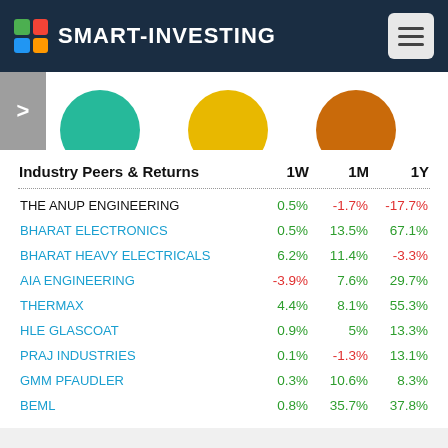SMART-INVESTING
[Figure (illustration): Three partially visible colored circles (teal, yellow, orange) at the top of the page below the header bar, with a grey navigation arrow on the left.]
| Industry Peers & Returns | 1W | 1M | 1Y |
| --- | --- | --- | --- |
| THE ANUP ENGINEERING | 0.5% | -1.7% | -17.7% |
| BHARAT ELECTRONICS | 0.5% | 13.5% | 67.1% |
| BHARAT HEAVY ELECTRICALS | 6.2% | 11.4% | -3.3% |
| AIA ENGINEERING | -3.9% | 7.6% | 29.7% |
| THERMAX | 4.4% | 8.1% | 55.3% |
| HLE GLASCOAT | 0.9% | 5% | 13.3% |
| PRAJ INDUSTRIES | 0.1% | -1.3% | 13.1% |
| GMM PFAUDLER | 0.3% | 10.6% | 8.3% |
| BEML | 0.8% | 35.7% | 37.8% |